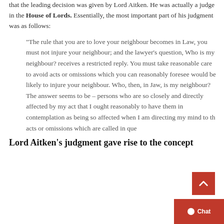that the leading decision was given by Lord Aitken. He was actually a judge in the House of Lords. Essentially, the most important part of his judgment was as follows:
“The rule that you are to love your neighbour becomes in Law, you must not injure your neighbour; and the lawyer’s question, Who is my neighbour? receives a restricted reply. You must take reasonable care to avoid acts or omissions which you can reasonably foresee would be likely to injure your neighbour. Who, then, in Jaw, is my neighbour? The answer seems to be – persons who are so closely and directly affected by my act that I ought reasonably to have them in contemplation as being so affected when I am directing my mind to the acts or omissions which are called in que…
Lord Aitken’s judgment gave rise to the concept